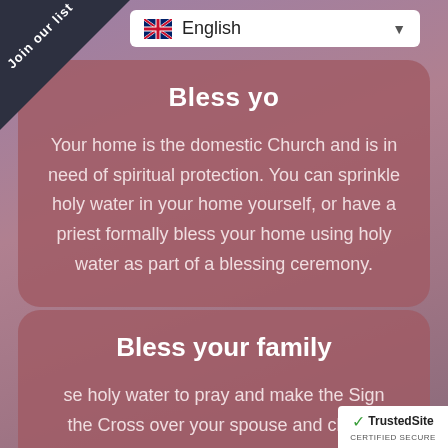[Figure (screenshot): Corner banner reading 'Join our list' in white text on dark triangle]
English (language selector dropdown)
Bless your [home]
Your home is the domestic Church and is in need of spiritual protection. You can sprinkle holy water in your home yourself, or have a priest formally bless your home using holy water as part of a blessing ceremony.
Bless your family
se holy water to pray and make the Sign [of] the Cross over your spouse and childre[n]